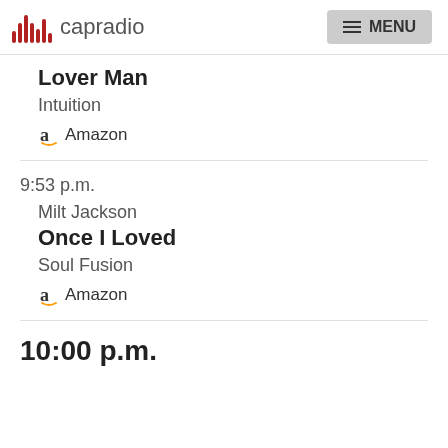capradio | MENU
Lover Man
Intuition
Amazon
9:53 p.m.
Milt Jackson
Once I Loved
Soul Fusion
Amazon
10:00 p.m.